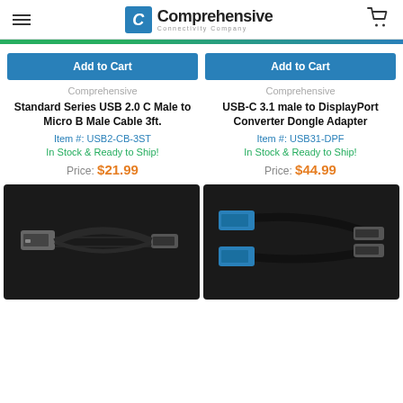Comprehensive Connectivity Company
Add to Cart
Comprehensive
Standard Series USB 2.0 C Male to Micro B Male Cable 3ft.
Item #: USB2-CB-3ST
In Stock & Ready to Ship!
Price: $21.99
Add to Cart
Comprehensive
USB-C 3.1 male to DisplayPort Converter Dongle Adapter
Item #: USB31-DPF
In Stock & Ready to Ship!
Price: $44.99
[Figure (photo): USB cable with Type-A and Micro-B connectors on black background]
[Figure (photo): USB-C to USB-A cable with blue connectors on black background]